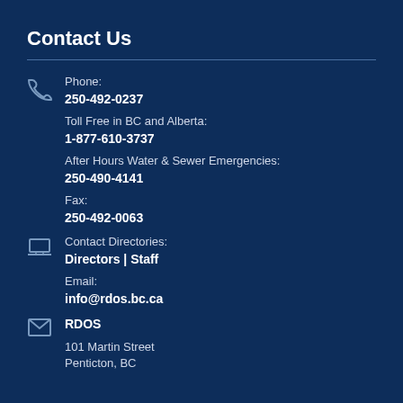Contact Us
Phone:
250-492-0237

Toll Free in BC and Alberta:
1-877-610-3737

After Hours Water & Sewer Emergencies:
250-490-4141

Fax:
250-492-0063
Contact Directories:
Directors | Staff

Email:
info@rdos.bc.ca
RDOS
101 Martin Street
Penticton, BC